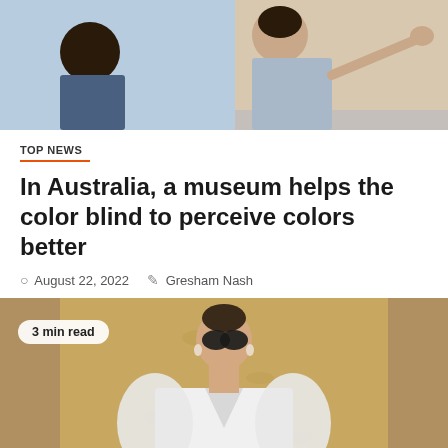[Figure (photo): Top photo showing two people, one pointing at something, with a blue/tan background]
TOP NEWS
In Australia, a museum helps the color blind to perceive colors better
August 22, 2022   Gresham Nash
[Figure (photo): Photo of a woman in a white ruffled dress wearing large sunglasses, standing in front of a gold/tan patterned wall. Badge reads '3 min read'.]